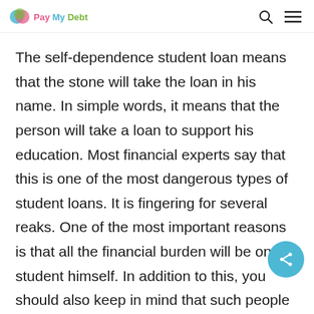Pay My Debt
The self-dependence student loan means that the stone will take the loan in his name. In simple words, it means that the person will take a loan to support his education. Most financial experts say that this is one of the most dangerous types of student loans. It is fingering for several reaks. One of the most important reasons is that all the financial burden will be on the student himself. In addition to this, you should also keep in mind that such people get